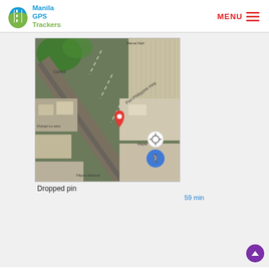[Figure (logo): Manila GPS Trackers logo with road/GPS icon and green leaf shape]
MENU ☰
[Figure (map): Google Maps aerial/satellite screenshot showing Pan-Philippine Hwy near Shangri-La area with a dropped red pin, walk button, and location button. Labels visible: Menal Mall, Cornell, Pan-Philippine Hwy, Shangri-La area, Pilipino National, Maple. Dropped pin label below map. 59 min walking time shown.]
Dropped pin
59 min